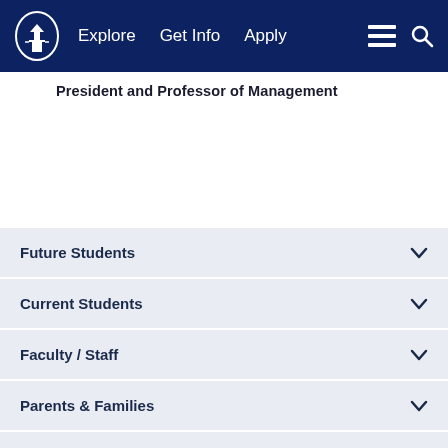Explore  Get Info  Apply
President and Professor of Management
Future Students
Current Students
Faculty / Staff
Parents & Families
Athletics
Finance (partial)